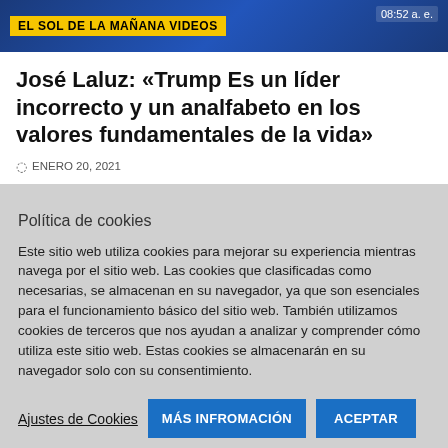[Figure (screenshot): News website banner with yellow label 'EL SOL DE LA MAÑANA VIDEOS' on blue background, time '08:52 a. e.' shown top right]
José Laluz: «Trump Es un líder incorrecto y un analfabeto en los valores fundamentales de la vida»
ENERO 20, 2021
Política de cookies
Este sitio web utiliza cookies para mejorar su experiencia mientras navega por el sitio web. Las cookies que clasificadas como necesarias, se almacenan en su navegador, ya que son esenciales para el funcionamiento básico del sitio web. También utilizamos cookies de terceros que nos ayudan a analizar y comprender cómo utiliza este sitio web. Estas cookies se almacenarán en su navegador solo con su consentimiento.
Ajustes de Cookies | MÁS INFROMACIÓN | ACEPTAR